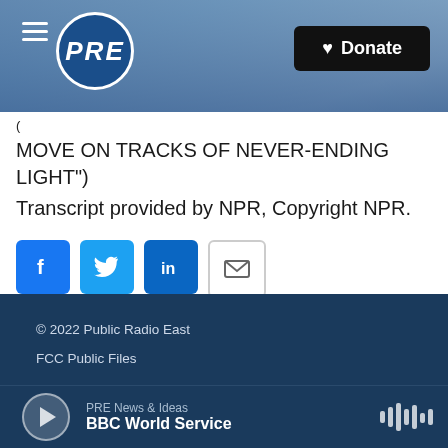[Figure (screenshot): PRE (Public Radio East) website header with ocean wave background, hamburger menu, PRE circular logo, and black Donate button with heart icon]
(
MOVE ON TRACKS OF NEVER-ENDING LIGHT")
Transcript provided by NPR, Copyright NPR.
[Figure (infographic): Social share buttons: Facebook (blue f), Twitter (blue bird), LinkedIn (blue in), Email (envelope outline)]
© 2022 Public Radio East
FCC Public Files
[Figure (infographic): Audio player bar with play button, PRE News & Ideas label, BBC World Service title, and waveform icon]